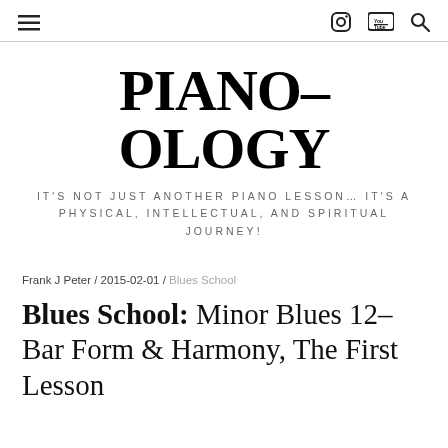≡  [instagram icon] [youtube icon] [search icon]
PIANO-OLOGY
IT'S NOT JUST ANOTHER PIANO LESSON… IT'S A PHYSICAL, INTELLECTUAL, AND SPIRITUAL JOURNEY!
Frank J Peter / 2015-02-01 / Blues School
Blues School: Minor Blues 12-Bar Form & Harmony, The First Lesson